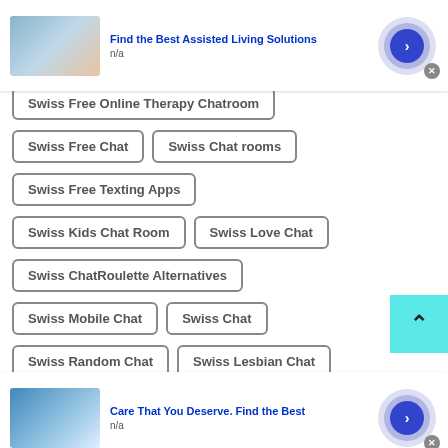[Figure (screenshot): Top advertisement banner: Find the Best Assisted Living Solutions, n/a]
Swiss Free Online Therapy Chatroom
Swiss Free Chat
Swiss Chat rooms
Swiss Free Texting Apps
Swiss Kids Chat Room
Swiss Love Chat
Swiss ChatRoulette Alternatives
Swiss Mobile Chat
Swiss Chat
Swiss Random Chat
Swiss Lesbian Chat
[Figure (screenshot): Bottom advertisement banner: Care That You Deserve. Find the Best, n/a]